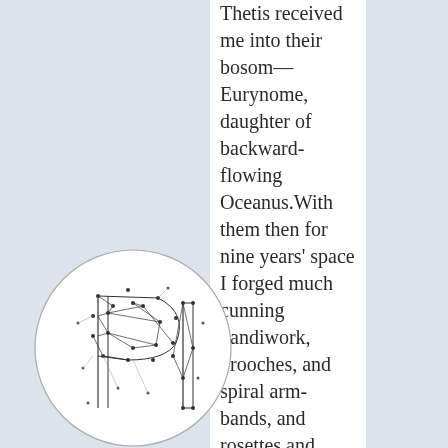Thetis received me into their bosom—Eurynome, daughter of backward-flowing Oceanus.With them then for nine years' space I forged much cunning handiwork, brooches, and spiral arm-bands, and rosettes and necklaces,[*] within their hollow cave; and
[Figure (logo): A circular logo containing a geometric letter P and letter I made of triangular wireframe/network structure with dots connected by lines, on a white background inside a thin gray circle border.]